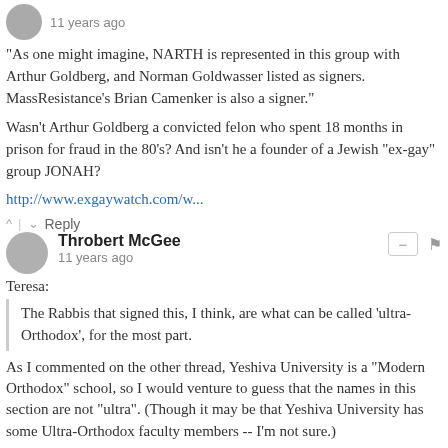11 years ago
"As one might imagine, NARTH is represented in this group with Arthur Goldberg, and Norman Goldwasser listed as signers. MassResistance's Brian Camenker is also a signer."
Wasn't Arthur Goldberg a convicted felon who spent 18 months in prison for fraud in the 80's? And isn't he a founder of a Jewish "ex-gay" group JONAH?
http://www.exgaywatch.com/w...
^ | v  Reply
Throbert McGee
11 years ago
Teresa:
The Rabbis that signed this, I think, are what can be called 'ultra-Orthodox', for the most part.
As I commented on the other thread, Yeshiva University is a "Modern Orthodox" school, so I would venture to guess that the names in this section are not "ultra". (Though it may be that Yeshiva University has some Ultra-Orthodox faculty members -- I'm not sure.)